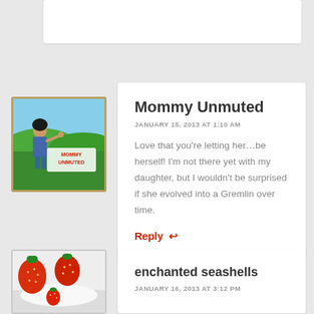[Figure (illustration): Cartoon avatar of Mommy Unmuted blog - animated woman with dark hair pointing, standing on green hills with blue sky, with white text box reading MOMMY UNMUTED]
Mommy Unmuted
JANUARY 15, 2013 AT 1:10 AM
Love that you’re letting her…be herself! I’m not there yet with my daughter, but I wouldn’t be surprised if she evolved into a Gremlin over time.
Reply ↩
[Figure (photo): Photo of strawberries on a white plate]
enchanted seashells
JANUARY 16, 2013 AT 3:12 PM